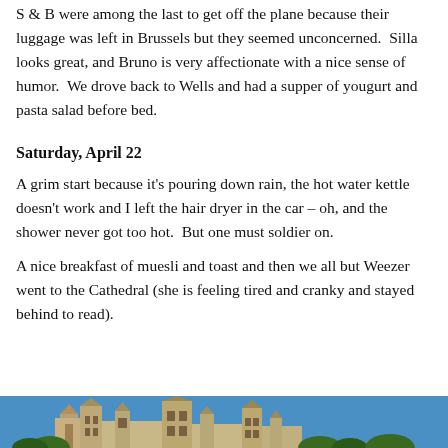S & B were among the last to get off the plane because their luggage was left in Brussels but they seemed unconcerned.  Silla looks great, and Bruno is very affectionate with a nice sense of humor.  We drove back to Wells and had a supper of yougurt and pasta salad before bed.
Saturday, April 22
A grim start because it's pouring down rain, the hot water kettle doesn't work and I left the hair dryer in the car – oh, and the shower never got too hot.  But one must soldier on.
A nice breakfast of muesli and toast and then we all but Weezer went to the Cathedral (she is feeling tired and cranky and stayed behind to read).
[Figure (photo): Partial view of a cathedral building with blue sky background, bottom strip of page]